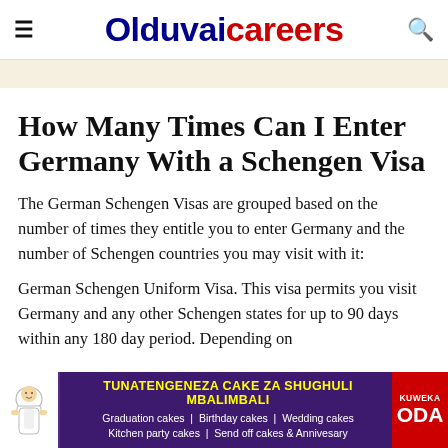Olduvaicareers
How Many Times Can I Enter Germany With a Schengen Visa
The German Schengen Visas are grouped based on the number of times they entitle you to enter Germany and the number of Schengen countries you may visit with it:
German Schengen Uniform Visa. This visa permits you visit Germany and any other Schengen states for up to 90 days within any 180 day period. Depending on
[Figure (infographic): Advertisement banner: purple background with chef icon, yellow headline 'TUNATENGENEZA CAKE ZA SHUGHULI MBALIMBALI', white subtext listing cake types, red KUWEKA ODA button]